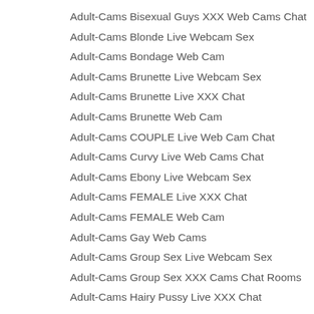Adult-Cams Bisexual Guys XXX Web Cams Chat
Adult-Cams Blonde Live Webcam Sex
Adult-Cams Bondage Web Cam
Adult-Cams Brunette Live Webcam Sex
Adult-Cams Brunette Live XXX Chat
Adult-Cams Brunette Web Cam
Adult-Cams COUPLE Live Web Cam Chat
Adult-Cams Curvy Live Web Cams Chat
Adult-Cams Ebony Live Webcam Sex
Adult-Cams FEMALE Live XXX Chat
Adult-Cams FEMALE Web Cam
Adult-Cams Gay Web Cams
Adult-Cams Group Sex Live Webcam Sex
Adult-Cams Group Sex XXX Cams Chat Rooms
Adult-Cams Hairy Pussy Live XXX Chat